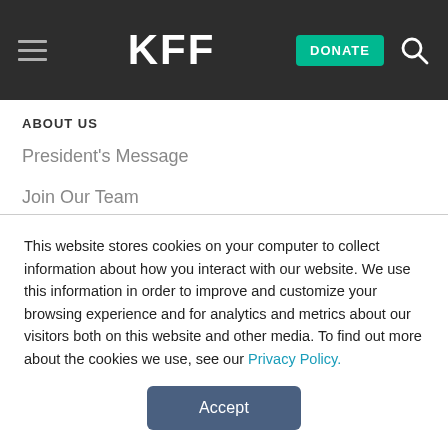KFF | DONATE
ABOUT US
President's Message
Join Our Team
Our Programs
Support Our Work
Key Staff
Media Fellowships
This website stores cookies on your computer to collect information about how you interact with our website. We use this information in order to improve and customize your browsing experience and for analytics and metrics about our visitors both on this website and other media. To find out more about the cookies we use, see our Privacy Policy.
Accept